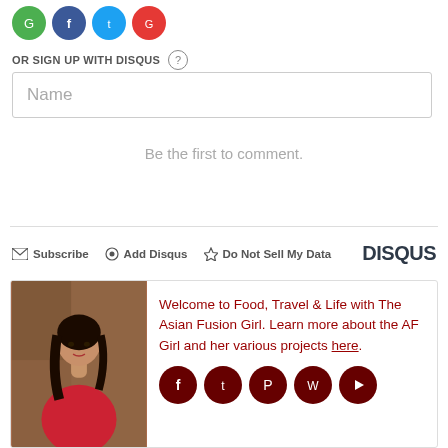[Figure (other): Four social login/share icon circles (green, blue, blue, red) at top]
OR SIGN UP WITH DISQUS ?
Name
Be the first to comment.
Subscribe   Add Disqus   Do Not Sell My Data   DISQUS
[Figure (photo): Photo of a woman with dark hair wearing a red top, with social media icons below and promo text: Welcome to Food, Travel & Life with The Asian Fusion Girl. Learn more about the AF Girl and her various projects here.]